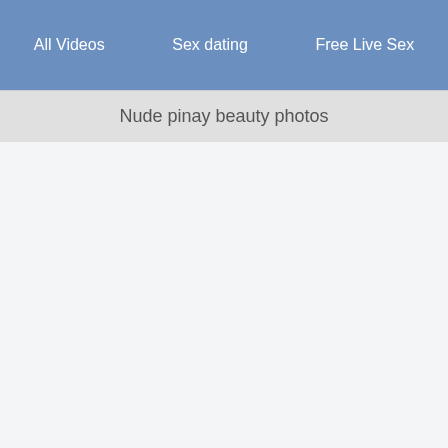All Videos | Sex dating | Free Live Sex
Nude pinay beauty photos